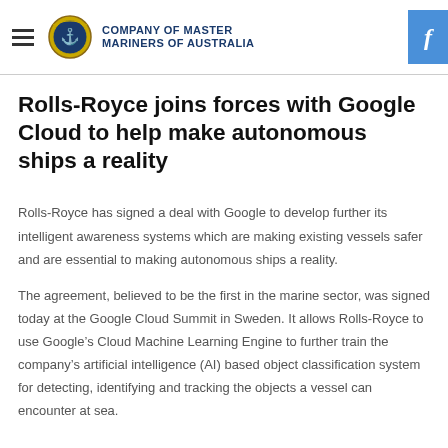COMPANY OF MASTER MARINERS OF AUSTRALIA
Rolls-Royce joins forces with Google Cloud to help make autonomous ships a reality
Rolls-Royce has signed a deal with Google to develop further its intelligent awareness systems which are making existing vessels safer and are essential to making autonomous ships a reality.
The agreement, believed to be the first in the marine sector, was signed today at the Google Cloud Summit in Sweden. It allows Rolls-Royce to use Google’s Cloud Machine Learning Engine to further train the company’s artificial intelligence (AI) based object classification system for detecting, identifying and tracking the objects a vessel can encounter at sea.